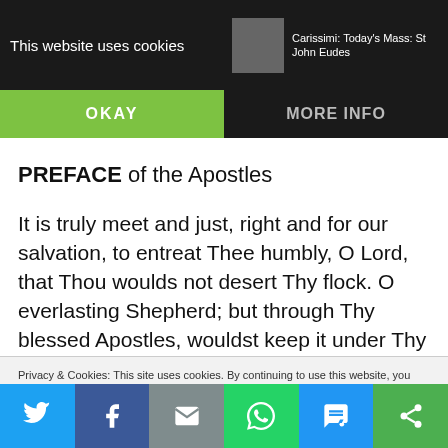This website uses cookies | Carissimi: Today's Mass: The Beheading of ... | Carissimi: Today's Mass: St John Eudes
OKAY
MORE INFO
PREFACE of the Apostles
It is truly meet and just, right and for our salvation, to entreat Thee humbly, O Lord, that Thou woulds not desert Thy flock. O everlasting Shepherd; but through Thy blessed Apostles, wouldst keep it under Thy constant protection: that it may be governed by
Privacy & Cookies: This site uses cookies. By continuing to use this website, you agree to their use.
To find out more, including how to control cookies, see here: Cookie Policy
Twitter | Facebook | Email | WhatsApp | SMS | More